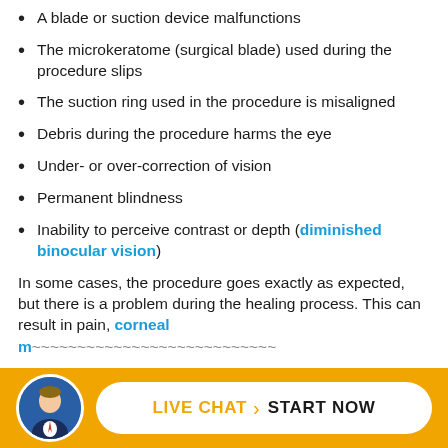A blade or suction device malfunctions
The microkeratome (surgical blade) used during the procedure slips
The suction ring used in the procedure is misaligned
Debris during the procedure harms the eye
Under- or over-correction of vision
Permanent blindness
Inability to perceive contrast or depth (diminished binocular vision)
In some cases, the procedure goes exactly as expected, but there is a problem during the healing process. This can result in pain, [corneal scarring / other complications]
[Figure (photo): Live chat button bar with attorney avatar photo, orange background, and white rounded button reading LIVE CHAT START NOW]